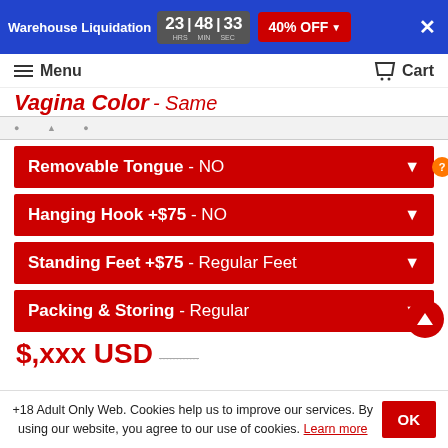Warehouse Liquidation 23 HRS 48 MIN 33 SEC 40% OFF
Menu  Cart
Vagina Color - Same ...lines
Removable Tongue - NO
Hanging Hook +$75 - NO
Standing Feet +$75 - Regular Feet
Packing & Storing - Regular
$,xxx USD ...
+18 Adult Only Web. Cookies help us to improve our services. By using our website, you agree to our use of cookies. Learn more